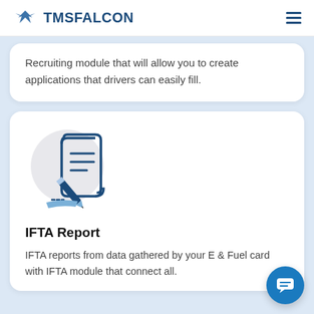TMS FALCON
Recruiting module that will allow you to create applications that drivers can easily fill.
[Figure (illustration): Icon of a document/scroll with a pencil writing on it, in dark blue and light blue colors, on a light gray circular background.]
IFTA Report
IFTA reports from data gathered by your E & Fuel card with IFTA module that connect all.